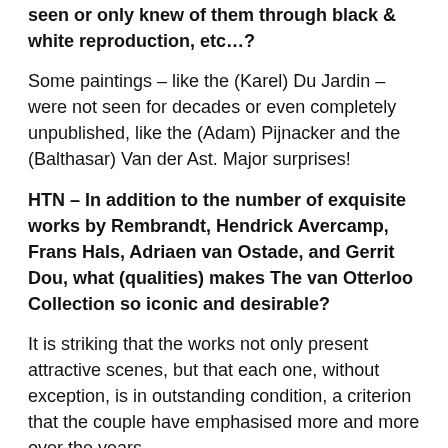seen or only knew of them through black & white reproduction, etc…?
Some paintings – like the (Karel) Du Jardin – were not seen for decades or even completely unpublished, like the (Adam) Pijnacker and the (Balthasar) Van der Ast. Major surprises!
HTN – In addition to the number of exquisite works by Rembrandt, Hendrick Avercamp, Frans Hals, Adriaen van Ostade, and Gerrit Dou, what (qualities) makes The van Otterloo Collection so iconic and desirable?
It is striking that the works not only present attractive scenes, but that each one, without exception, is in outstanding condition, a criterion that the couple have emphasised more and more over the years.